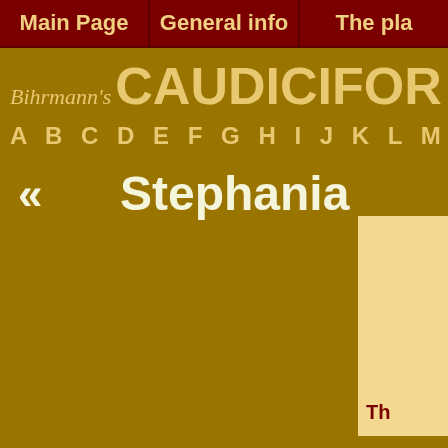Main Page | General info | The pla
Bihrmann's CAUDICIFOR
A B C D E F G H I J K L M N O
« Stephania
Th